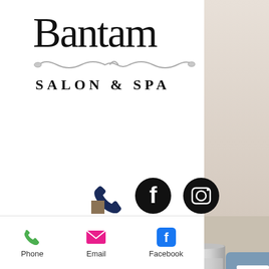Bantam Salon & Spa
[Figure (logo): Bantam Salon & Spa logo with decorative hairpin illustration and small-caps subtitle]
[Figure (infographic): Social media icons: phone (dark navy), Facebook (black circle with f), Instagram (black circle with camera icon)]
[Figure (photo): A product can labeled 'weightless shine' with NET WT. 5.5 oz. 155g, overlaid with a blue-grey menu button showing three horizontal lines]
[Figure (infographic): Bottom navigation bar with Phone (green phone icon), Email (pink envelope icon), Facebook (blue Facebook icon) actions]